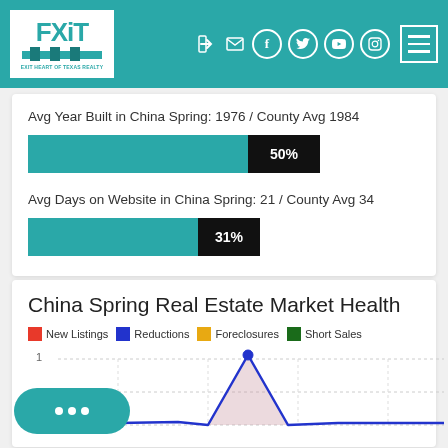EXIT Heart of Texas Realty
Avg Year Built in China Spring: 1976 / County Avg 1984
[Figure (bar-chart): Avg Year Built comparison]
Avg Days on Website in China Spring: 21 / County Avg 34
[Figure (bar-chart): Avg Days on Website comparison]
China Spring Real Estate Market Health
[Figure (line-chart): Line chart showing New Listings, Reductions, Foreclosures, Short Sales over time. Y-axis shows value of 1. A blue line peaks prominently in the middle of the chart.]